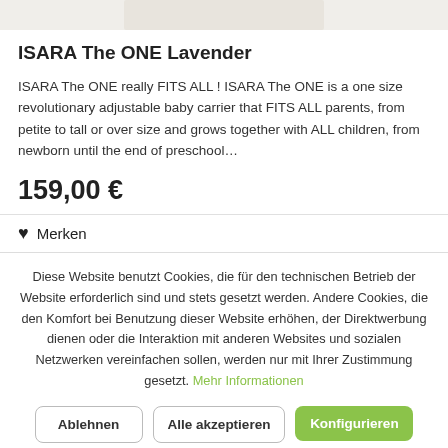[Figure (photo): Partial product photo of baby carrier (cropped at top)]
ISARA The ONE Lavender
ISARA The ONE really FITS ALL ! ISARA The ONE is a one size revolutionary adjustable baby carrier that FITS ALL parents, from petite to tall or over size and grows together with ALL children, from newborn until the end of preschool…
159,00 €
♥  Merken
Diese Website benutzt Cookies, die für den technischen Betrieb der Website erforderlich sind und stets gesetzt werden. Andere Cookies, die den Komfort bei Benutzung dieser Website erhöhen, der Direktwerbung dienen oder die Interaktion mit anderen Websites und sozialen Netzwerken vereinfachen sollen, werden nur mit Ihrer Zustimmung gesetzt. Mehr Informationen
Ablehnen
Alle akzeptieren
Konfigurieren